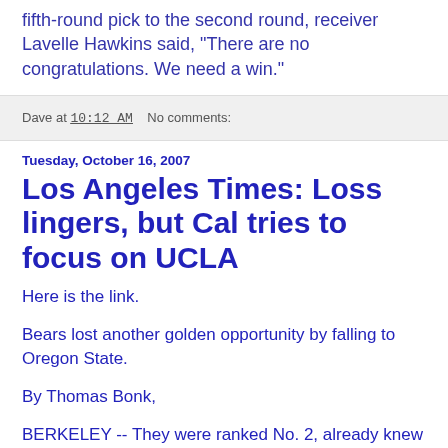fifth-round pick to the second round, receiver Lavelle Hawkins said, "There are no congratulations. We need a win."
Dave at 10:12 AM    No comments:
Tuesday, October 16, 2007
Los Angeles Times: Loss lingers, but Cal tries to focus on UCLA
Here is the link.
Bears lost another golden opportunity by falling to Oregon State.
By Thomas Bonk,
BERKELEY -- They were ranked No. 2, already knew top-ranked Louisiana State had lost, giving them a clear shot at